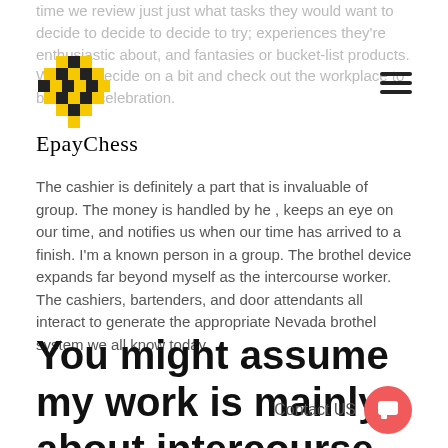time we review just just what tasks they would want to decide to decide to decide to try; experiences they're enthusiastic about, and fantasies or bucket-list products. We then decide on a bit and check out the workplace to book the celebration.
[Figure (logo): EpayChess logo with yellow and black checkered diamond pattern and text 'EpayChess']
The cashier is definitely a part that is invaluable of group. The money is handled by he , keeps an eye on our time, and notifies us when our time has arrived to a finish. I'm a known person in a group. The brothel device expands far beyond myself as the intercourse worker. The cashiers, bartenders, and door attendants all interact to generate the appropriate Nevada brothel system we all know today.
You might assume my work is mainly about intercourse, but that mayn't be further through the truth. Intercourse is thought — it is currently from the dining dining dining table